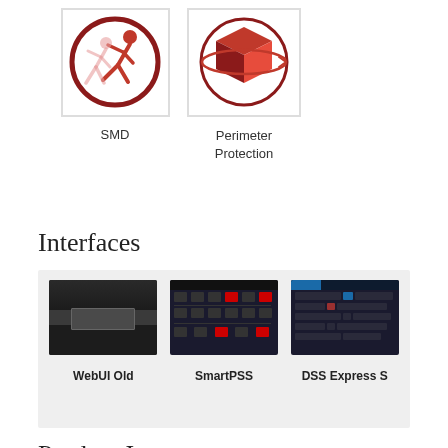[Figure (illustration): SMD icon: circular red border with a person running figure inside]
SMD
[Figure (illustration): Perimeter Protection icon: circular red border with a red 3D box/cube with orbit ring inside]
Perimeter Protection
Interfaces
[Figure (screenshot): Three software interface screenshots side by side: WebUI Old (dark login screen), SmartPSS (dark UI with icons grid), DSS Express S (dark management UI)]
WebUI Old
SmartPSS
DSS Express S
Product Images